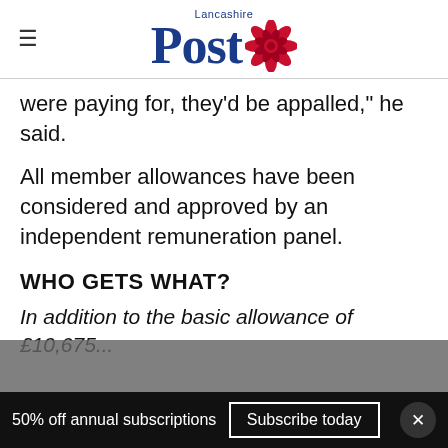Lancashire Post
were paying for, they'd be appalled," he said.
All member allowances have been considered and approved by an independent remuneration panel.
WHO GETS WHAT?
In addition to the basic allowance of £10,675...
Leader  £30,484
50% off annual subscriptions   Subscribe today